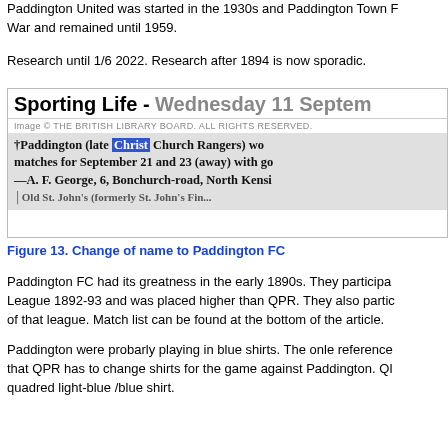Paddington United was started in the 1930s and Paddington Town F War and remained until 1959.
Research until 1/6 2022. Research after 1894 is now sporadic.
[Figure (screenshot): Newspaper clipping from Sporting Life - Wednesday 11 September, showing a notice about Paddington (late Christ Church Rangers) with matches for September 21 and 28 (away). Image copyright The British Library Board. All rights reserved.]
Figure 13. Change of name to Paddington FC
Paddington FC had its greatness in the early 1890s. They participa League 1892-93 and was placed higher than QPR. They also partic of that league. Match list can be found at the bottom of the article.
Paddington were probarly playing in blue shirts. The onle reference that QPR has to change shirts for the game against Paddington. Q quadred light-blue /blue shirt.